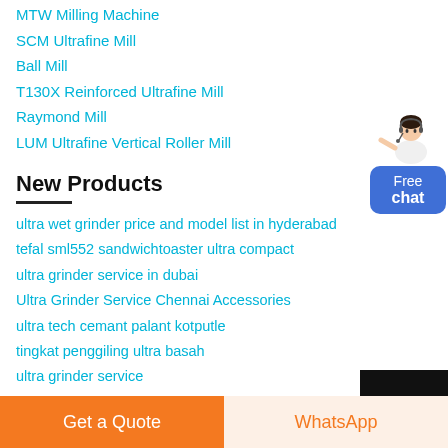MTW Milling Machine
SCM Ultrafine Mill
Ball Mill
T130X Reinforced Ultrafine Mill
Raymond Mill
LUM Ultrafine Vertical Roller Mill
New Products
ultra wet grinder price and model list in hyderabad
tefal sml552 sandwichtoaster ultra compact
ultra grinder service in dubai
Ultra Grinder Service Chennai Accessories
ultra tech cemant palant kotputle
tingkat penggiling ultra basah
ultra grinder service
[Figure (illustration): Customer service representative with chat widget showing 'Free chat' button]
Get a Quote
WhatsApp